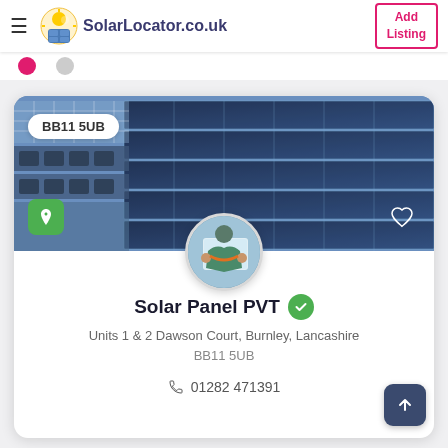SolarLocator.co.uk — Add Listing
[Figure (screenshot): Solar panel installation photo with BB11 5UB postcode badge, green location pin button, and heart/favourite button]
[Figure (photo): Circular profile photo of a solar panel installer]
Solar Panel PVT
Units 1 & 2 Dawson Court, Burnley, Lancashire BB11 5UB
01282 471391